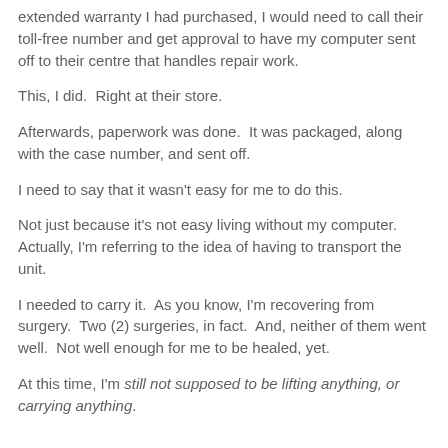extended warranty I had purchased, I would need to call their toll-free number and get approval to have my computer sent off to their centre that handles repair work.
This, I did.  Right at their store.
Afterwards, paperwork was done.  It was packaged, along with the case number, and sent off.
I need to say that it wasn't easy for me to do this.
Not just because it's not easy living without my computer.  Actually, I'm referring to the idea of having to transport the unit.
I needed to carry it.  As you know, I'm recovering from surgery.  Two (2) surgeries, in fact.  And, neither of them went well.  Not well enough for me to be healed, yet.
At this time, I'm still not supposed to be lifting anything, or carrying anything.